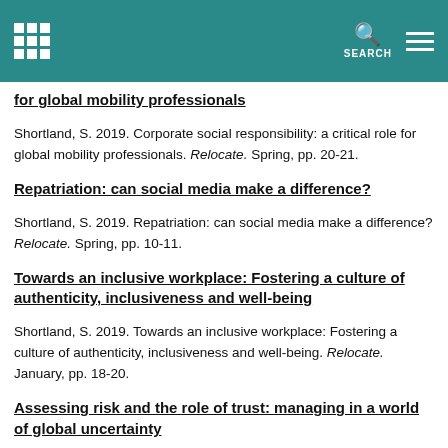Header bar with grid logo, search icon, and menu icon
for global mobility professionals
Shortland, S. 2019. Corporate social responsibility: a critical role for global mobility professionals. Relocate. Spring, pp. 20-21.
Repatriation: can social media make a difference?
Shortland, S. 2019. Repatriation: can social media make a difference? Relocate. Spring, pp. 10-11.
Towards an inclusive workplace: Fostering a culture of authenticity, inclusiveness and well-being
Shortland, S. 2019. Towards an inclusive workplace: Fostering a culture of authenticity, inclusiveness and well-being. Relocate. January, pp. 18-20.
Assessing risk and the role of trust: managing in a world of global uncertainty
Shortland, S. 2019. Assessing risk and the role of trust: